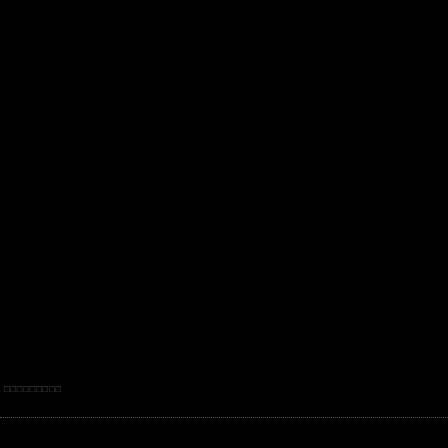[Figure (photo): Mostly black page, appears to be a dark photograph or blacked-out image filling the majority of the page area.]
□□□□□□□□□